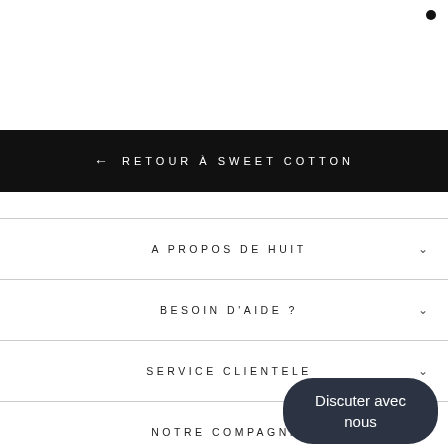← RETOUR À SWEET COTTON
A PROPOS DE HUIT
BESOIN D'AIDE ?
SERVICE CLIENTELE
NOTRE COMPAGNIE
Discuter avec nous